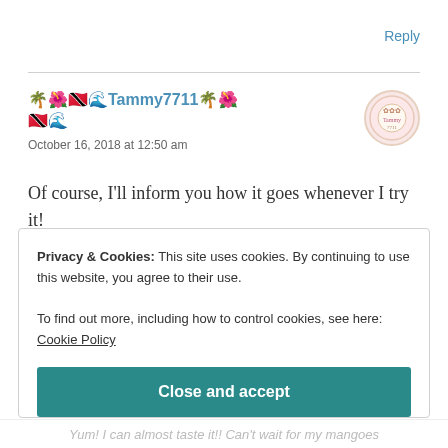Reply
🌴🌺🇹🇹🌊Tammy7711🌴🌺🇹🇹🌊
October 16, 2018 at 12:50 am
Of course, I'll inform you how it goes whenever I try it!
Privacy & Cookies: This site uses cookies. By continuing to use this website, you agree to their use.
To find out more, including how to control cookies, see here: Cookie Policy
Close and accept
Yum! I can almost taste it!! Can't wait for my mangoes